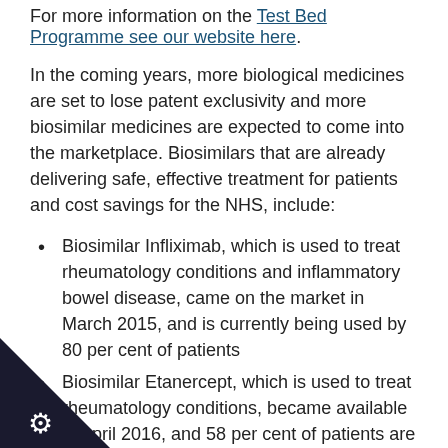For more information on the Test Bed Programme see our website here.
In the coming years, more biological medicines are set to lose patent exclusivity and more biosimilar medicines are expected to come into the marketplace. Biosimilars that are already delivering safe, effective treatment for patients and cost savings for the NHS, include:
Biosimilar Infliximab, which is used to treat rheumatology conditions and inflammatory bowel disease, came on the market in March 2015, and is currently being used by 80 per cent of patients
Biosimilar Etanercept, which is used to treat rheumatology conditions, became available in April 2016, and 58 per cent of patients are using it
itching to these two latest biosimilars has